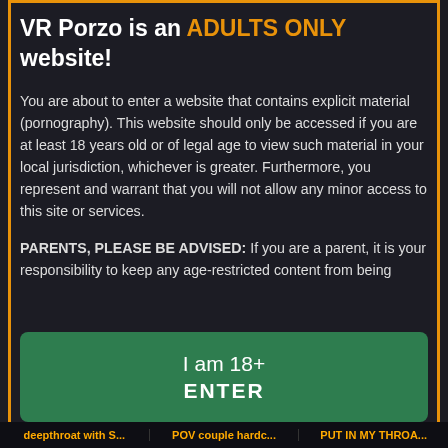VR Porzo is an ADULTS ONLY website!
You are about to enter a website that contains explicit material (pornography). This website should only be accessed if you are at least 18 years old or of legal age to view such material in your local jurisdiction, whichever is greater. Furthermore, you represent and warrant that you will not allow any minor access to this site or services.
PARENTS, PLEASE BE ADVISED: If you are a parent, it is your responsibility to keep any age-restricted content from being
I am 18+
ENTER
When accessing this site you agree to our terms of use.
deepthroat with S...   POV couple hardc...   PUT IN MY THROA...